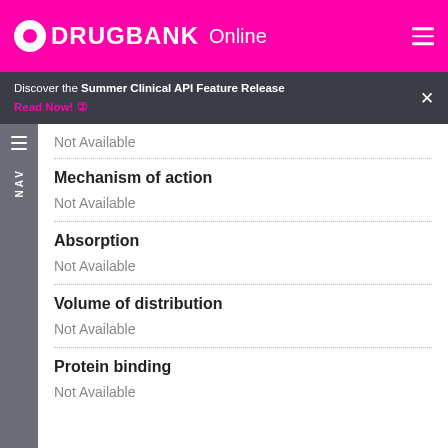DRUGBANK Online
Discover the Summer Clinical API Feature Release Read Now!
Not Available
Mechanism of action
Not Available
Absorption
Not Available
Volume of distribution
Not Available
Protein binding
Not Available